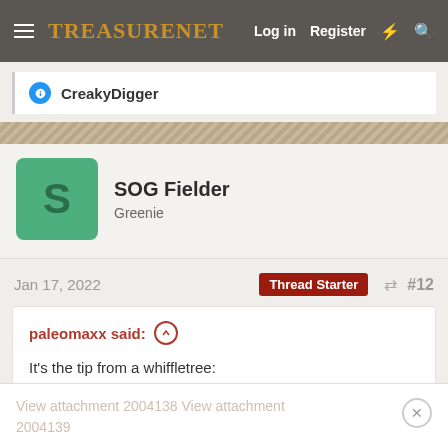TreasureNet  Log in  Register
CreakyDigger
SOG Fielder
Greenie
Jan 17, 2022  Thread Starter  #12
paleomaxx said:
It's the tip from a whiffletree:
View attachment 2004138 View attachment 2004139